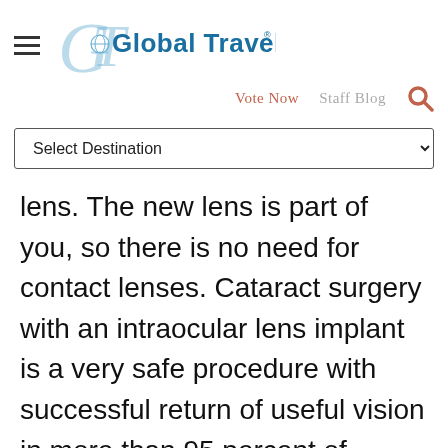Global Traveler
Vote Now  Staff Blog
Select Destination
lens. The new lens is part of you, so there is no need for contact lenses. Cataract surgery with an intraocular lens implant is a very safe procedure with successful return of useful vision in more than 95 percent of patients.